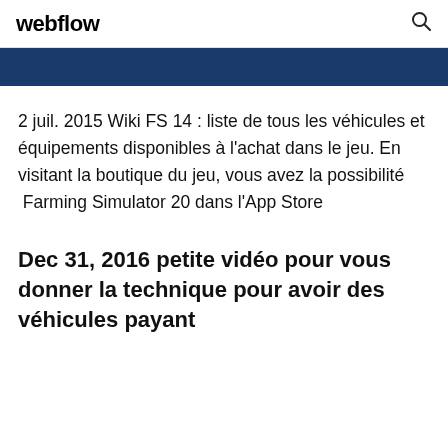webflow
[Figure (other): Dark blue banner strip]
2 juil. 2015 Wiki FS 14 : liste de tous les véhicules et équipements disponibles à l'achat dans le jeu. En visitant la boutique du jeu, vous avez la possibilité  Farming Simulator 20 dans l'App Store
Dec 31, 2016 petite vidéo pour vous donner la technique pour avoir des véhicules payant